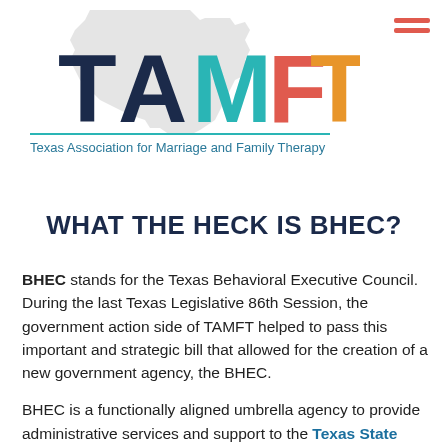[Figure (logo): TAMFT logo with Texas state outline silhouette in gray background. Letters T-A in dark navy, M in teal, F in red/coral, T in orange. Below a teal horizontal line reads 'Texas Association for Marriage and Family Therapy' in teal text.]
WHAT THE HECK IS BHEC?
BHEC stands for the Texas Behavioral Executive Council. During the last Texas Legislative 86th Session, the government action side of TAMFT helped to pass this important and strategic bill that allowed for the creation of a new government agency, the BHEC.
BHEC is a functionally aligned umbrella agency to provide administrative services and support to the Texas State Board